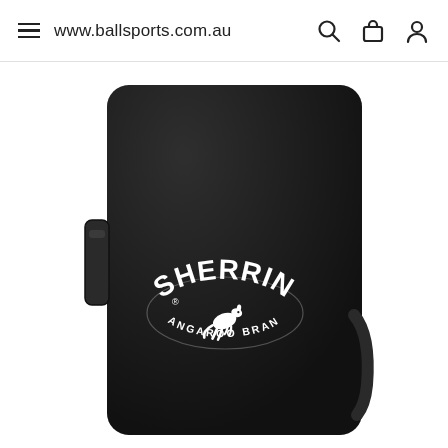www.ballsports.com.au
[Figure (photo): A large black rectangular Sherrin Kangaroo Brand tackle bag/pad with a strap on the side. The Sherrin logo is displayed in white on the front of the pad, featuring arched text 'SHERRIN' and 'KANGAROO BRAND' with a kangaroo silhouette. The pad has a carrying handle/strap visible on the left side.]